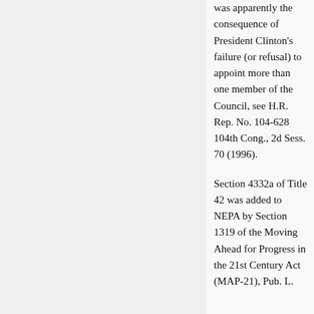was apparently the consequence of President Clinton's failure (or refusal) to appoint more than one member of the Council, see H.R. Rep. No. 104-628 104th Cong., 2d Sess. 70 (1996).
Section 4332a of Title 42 was added to NEPA by Section 1319 of the Moving Ahead for Progress in the 21st Century Act (MAP-21), Pub. L.